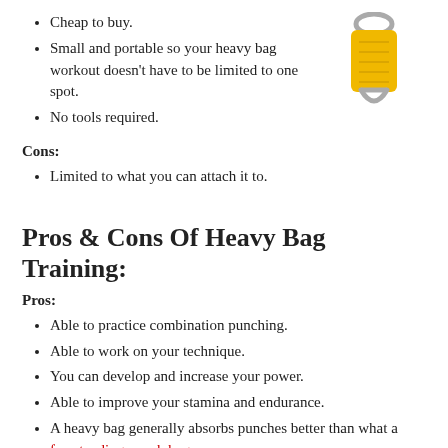Cheap to buy.
Small and portable so your heavy bag workout doesn't have to be limited to one spot.
No tools required.
[Figure (photo): A yellow strap with a metal D-ring attachment hardware piece.]
Cons:
Limited to what you can attach it to.
Pros & Cons Of Heavy Bag Training:
Pros:
Able to practice combination punching.
Able to work on your technique.
You can develop and increase your power.
Able to improve your stamina and endurance.
A heavy bag generally absorbs punches better than what a freestanding punch bag.